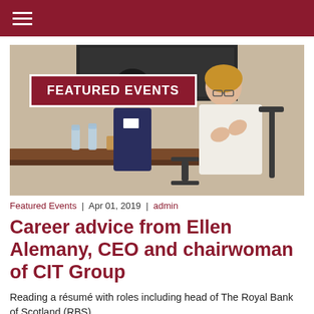[Figure (photo): Two women seated at a panel event; one in a white blazer gesturing with hands, the other in a dark blazer with a name badge. Water bottles and a brown table visible in the background with a screen.]
Featured Events  |  Apr 01, 2019  |  admin
Career advice from Ellen Alemany, CEO and chairwoman of CIT Group
Reading a résumé with roles including head of The Royal Bank of Scotland (RBS)